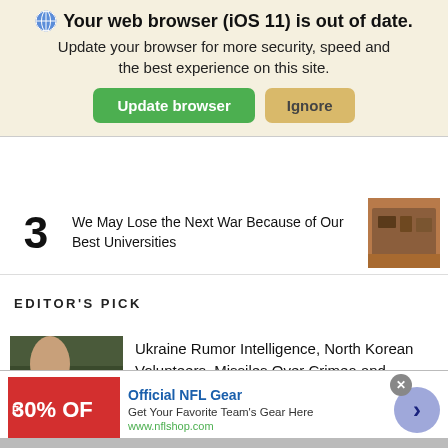🌐 Your web browser (iOS 11) is out of date. Update your browser for more security, speed and the best experience on this site. [Update browser] [Ignore]
3 We May Lose the Next War Because of Our Best Universities
EDITOR'S PICK
Ukraine Rumor Intelligence, North Korean Volunteers, Missiles Over Crimea and Inflatable Rockets
[Figure (infographic): Advertisement: Official NFL Gear – 30% OFF. Get Your Favorite Team's Gear Here. www.nflshop.com]